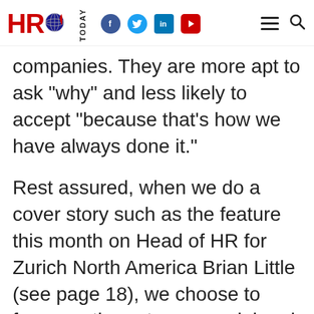HRO TODAY
companies. They are more apt to ask “why” and less likely to accept “because that’s how we have always done it.”
Rest assured, when we do a cover story such as the feature this month on Head of HR for Zurich North America Brian Little (see page 18), we choose to focus on the entrepreneurial and creative HR leaders and their progressive departments and to celebrate the success and impact that they have. As HR deals with the concept of agility you need to ask